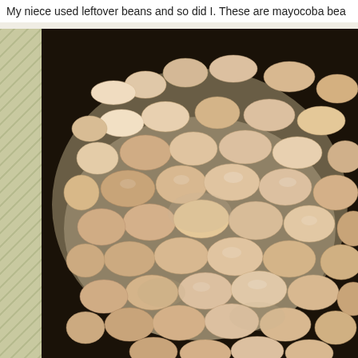My niece used leftover beans and so did I. These are mayocoba bea
[Figure (photo): Close-up photo of cooked mayocoba beans (pale beige/cream colored kidney-shaped beans) in a dark bowl or pan, sitting in liquid/broth. The beans are plump and glossy.]